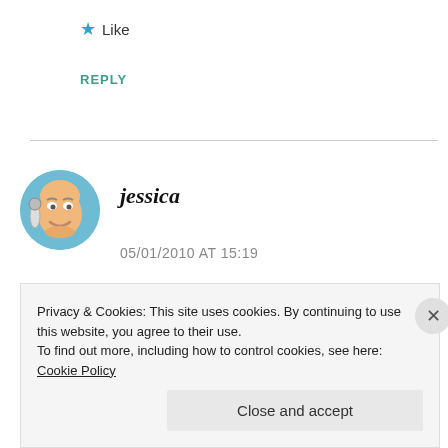★ Like
REPLY
[Figure (illustration): Cartoon avatar of jessica — a round cartoon face with teal circular border]
jessica
05/01/2010 AT 15:19
LOVE LOVE LOVE... keep writing Dana!
Privacy & Cookies: This site uses cookies. By continuing to use this website, you agree to their use.
To find out more, including how to control cookies, see here: Cookie Policy
Close and accept